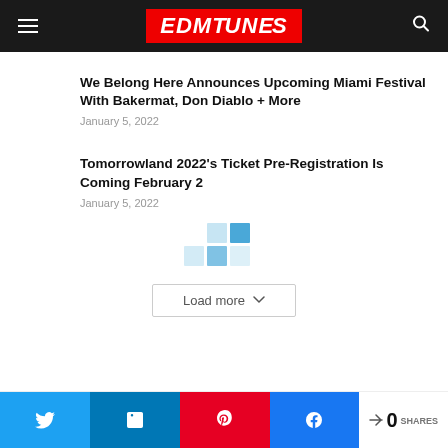EDMTUNES
We Belong Here Announces Upcoming Miami Festival With Bakermat, Don Diablo + More
January 5, 2022
Tomorrowland 2022's Ticket Pre-Registration Is Coming February 2
January 5, 2022
Load more
0 SHARES